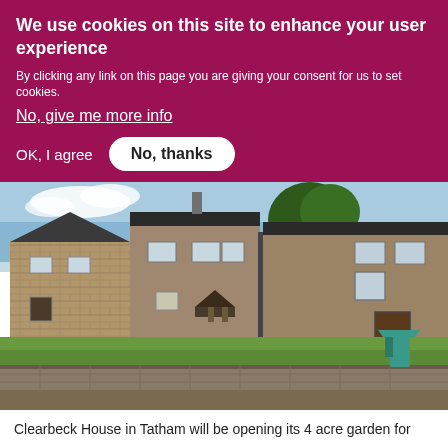We use cookies on this site to enhance your user experience
By clicking any link on this page you are giving your consent for us to set cookies.
No, give me more info
OK, I agree   No, thanks
[Figure (photo): Exterior view of Clearbeck House in Tatham, a traditional stone-built farmhouse with multiple buildings, green lawn, a wishing well canopy, and a blue sky with trees in the background.]
Clearbeck House in Tatham will be opening its 4 acre garden for